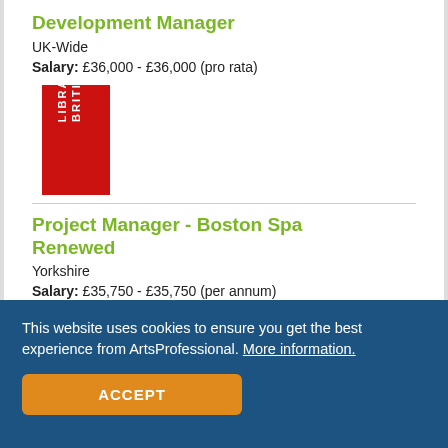Development Manager
UK-Wide
Salary: £36,000 - £36,000 (pro rata)
[Figure (logo): British Library logo — red rectangle with white text reading BRITISH LIBRARY vertically]
Project Manager - Boston Spa Renewed
Yorkshire
Salary: £35,750 - £35,750 (per annum)
[Figure (logo): Northern Stage logo — black angular N mark above text reading NORTHERN STAGE]
This website uses cookies to ensure you get the best experience from ArtsProfessional. More information.
ACCEPT